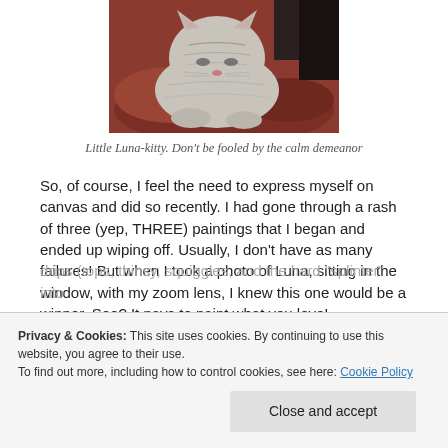[Figure (photo): A grey tabby cat (Luna) resting on a red/burgundy cushion or pillow, photographed from above with a zoom lens. The cat appears calm with eyes partially closed.]
Little Luna-kitty. Don't be fooled by the calm demeanor
So, of course, I feel the need to express myself on canvas and did so recently. I had gone through a rash of three (yep, THREE) paintings that I began and ended up wiping off. Usually, I don't have as many failures! But when I took a photo of Luna, sitting in the window, with my zoom lens, I knew this one would be a winner. See? It pays to paint what you love!
Privacy & Cookies: This site uses cookies. By continuing to use this website, you agree to their use.
To find out more, including how to control cookies, see here: Cookie Policy
Close and accept